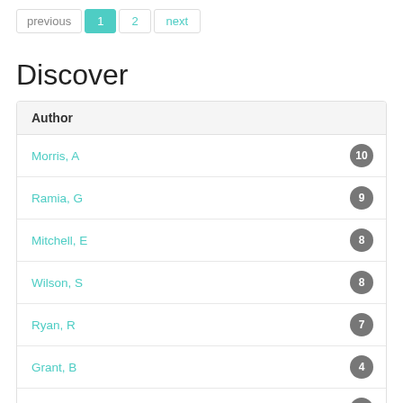previous | 1 | 2 | next
Discover
| Author |  |
| --- | --- |
| Morris, A | 10 |
| Ramia, G | 9 |
| Mitchell, E | 8 |
| Wilson, S | 8 |
| Ryan, R | 7 |
| Grant, B | 4 |
| Lawrie, A | 3 |